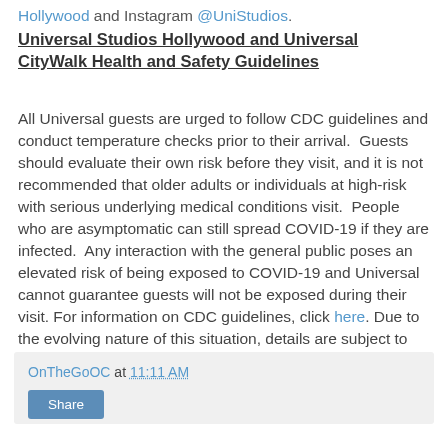Hollywood and Instagram @UniStudios.
Universal Studios Hollywood and Universal CityWalk Health and Safety Guidelines
All Universal guests are urged to follow CDC guidelines and conduct temperature checks prior to their arrival. Guests should evaluate their own risk before they visit, and it is not recommended that older adults or individuals at high-risk with serious underlying medical conditions visit. People who are asymptomatic can still spread COVID-19 if they are infected. Any interaction with the general public poses an elevated risk of being exposed to COVID-19 and Universal cannot guarantee guests will not be exposed during their visit. For information on CDC guidelines, click here. Due to the evolving nature of this situation, details are subject to change without notice.
OnTheGoOC at 11:11 AM
Share